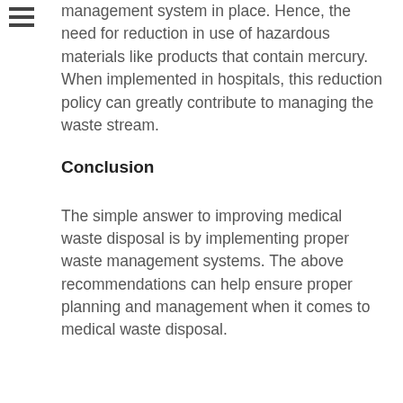management system in place. Hence, the need for reduction in use of hazardous materials like products that contain mercury. When implemented in hospitals, this reduction policy can greatly contribute to managing the waste stream.
Conclusion
The simple answer to improving medical waste disposal is by implementing proper waste management systems. The above recommendations can help ensure proper planning and management when it comes to medical waste disposal.